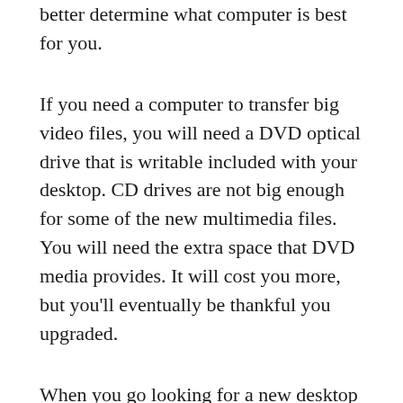better determine what computer is best for you.
If you need a computer to transfer big video files, you will need a DVD optical drive that is writable included with your desktop. CD drives are not big enough for some of the new multimedia files. You will need the extra space that DVD media provides. It will cost you more, but you’ll eventually be thankful you upgraded.
When you go looking for a new desktop computer, make certain the software on it is completely legal. The software should come with a CD and the CD key. This ensures you’ll be able to update the software and stay out of legal trouble.